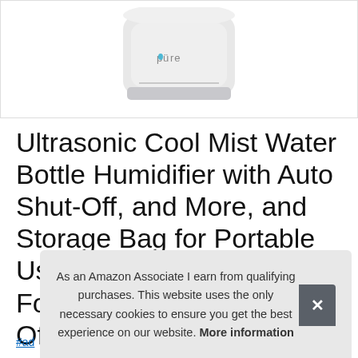[Figure (photo): White Pure Enrichment ultrasonic humidifier product image on white background]
Ultrasonic Cool Mist Water Bottle Humidifier with Auto Shut-Off, and More, and Storage Bag for Portable Use at Home, Mood Light, Fold-Out Leg, Hotel, Office, Pure Enrichment MistAire...
#ad
As an Amazon Associate I earn from qualifying purchases. This website uses the only necessary cookies to ensure you get the best experience on our website. More information